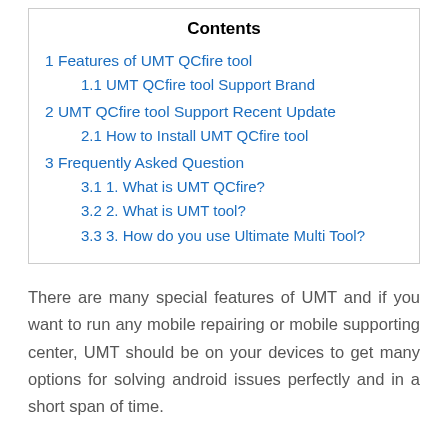Contents
1 Features of UMT QCfire tool
1.1 UMT QCfire tool Support Brand
2 UMT QCfire tool Support Recent Update
2.1 How to Install UMT QCfire tool
3 Frequently Asked Question
3.1 1. What is UMT QCfire?
3.2 2. What is UMT tool?
3.3 3. How do you use Ultimate Multi Tool?
There are many special features of UMT and if you want to run any mobile repairing or mobile supporting center, UMT should be on your devices to get many options for solving android issues perfectly and in a short span of time.